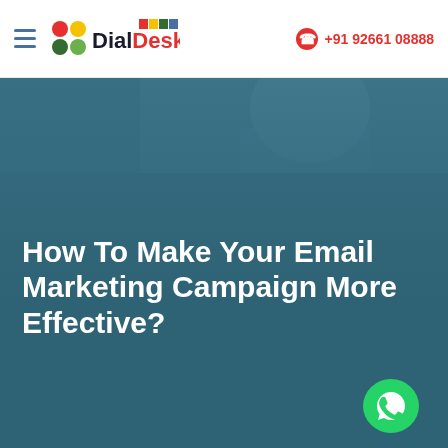DialDesk | +91 92661 08888
[Figure (photo): Hero banner with teal/dark blue background and faded person image at top, containing the blog post title text]
How To Make Your Email Marketing Campaign More Effective?
[Figure (logo): WhatsApp floating button icon at bottom right]